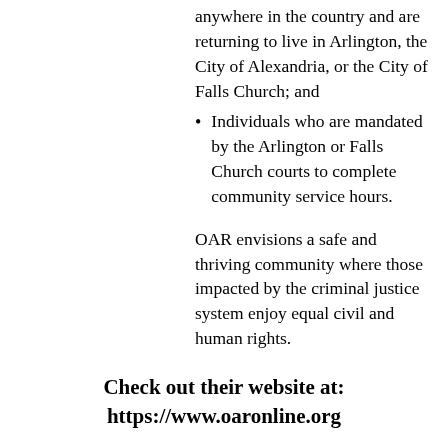anywhere in the country and are returning to live in Arlington, the City of Alexandria, or the City of Falls Church; and
Individuals who are mandated by the Arlington or Falls Church courts to complete community service hours.
OAR envisions a safe and thriving community where those impacted by the criminal justice system enjoy equal civil and human rights.
Check out their website at: https://www.oaronline.org
[Figure (illustration): Two black circular social media icons: Pinterest (P) and Instagram (camera)]
artloveslifedesigns@gmail.com
Proudly created by Robin Joseph